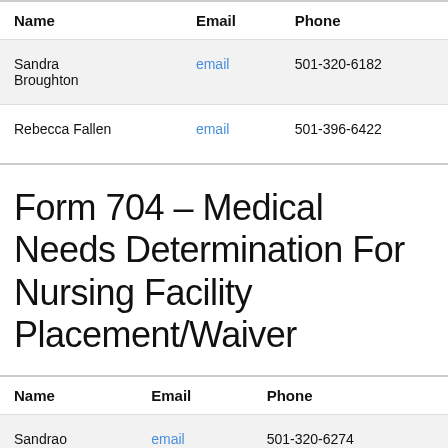| Name | Email | Phone |
| --- | --- | --- |
| Sandra Broughton | email | 501-320-6182 |
| Rebecca Fallen | email | 501-396-6422 |
Form 704 – Medical Needs Determination For Nursing Facility Placement/Waiver
| Name | Email | Phone |
| --- | --- | --- |
| Sandrao | email | 501-320-6274 |